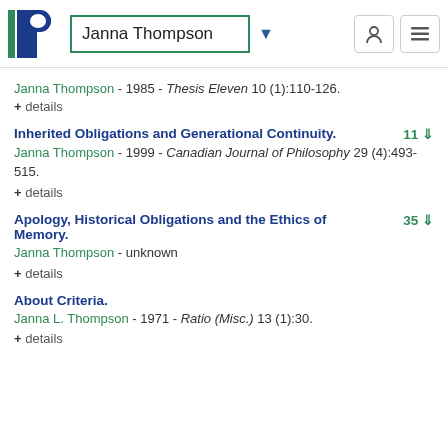Janna Thompson
Janna Thompson - 1985 - Thesis Eleven 10 (1):110-126.
+ details
Inherited Obligations and Generational Continuity.
Janna Thompson - 1999 - Canadian Journal of Philosophy 29 (4):493-515.
+ details
Apology, Historical Obligations and the Ethics of Memory.
Janna Thompson - unknown
+ details
About Criteria.
Janna L. Thompson - 1971 - Ratio (Misc.) 13 (1):30.
+ details